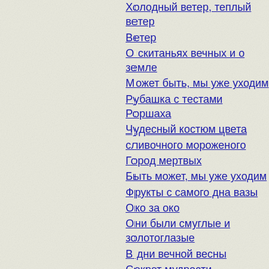Холодный ветер, теплый ветер
Ветер
О скитаньях вечных и о земле
Может быть, мы уже уходим
Рубашка с тестами Роршаха
Чудесный костюм цвета сливочного мороженого
Город мертвых
Быть может, мы уже уходим
Фрукты с самого дна вазы
Око за око
Они были смуглые и золотоглазые
В дни вечной весны
Секрет мудрости
Кричащая женщина
Конец начальной поры
Мусорщик
Сахарный череп
Вино из одуванчиков
Луг
Христос-Аполло
Чудеса и диковины !